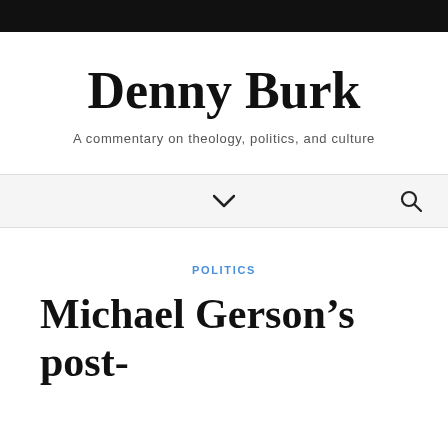Denny Burk
A commentary on theology, politics, and culture
POLITICS
Michael Gerson’s post-